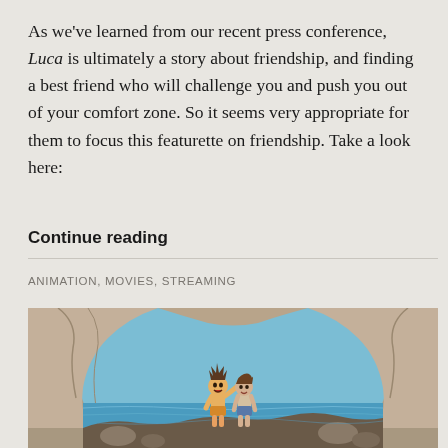As we've learned from our recent press conference, Luca is ultimately a story about friendship, and finding a best friend who will challenge you and push you out of your comfort zone. So it seems very appropriate for them to focus this featurette on friendship. Take a look here:
Continue reading
ANIMATION, MOVIES, STREAMING
[Figure (illustration): Still from Pixar animated film Luca showing two animated boy characters standing on rocks inside a sea cave arch, with the ocean and blue sky visible behind them. The cave walls are tan/brown stone. One character has spiky dark hair and is waving, the other has brown hair.]